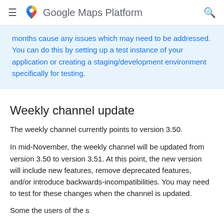Google Maps Platform
months cause any issues which may need to be addressed. You can do this by setting up a test instance of your application or creating a staging/development environment specifically for testing.
Weekly channel update
The weekly channel currently points to version 3.50.
In mid-November, the weekly channel will be updated from version 3.50 to version 3.51. At this point, the new version will include new features, remove deprecated features, and/or introduce backwards-incompatibilities. You may need to test for these changes when the channel is updated.
Some the users of the s...the new version will b...